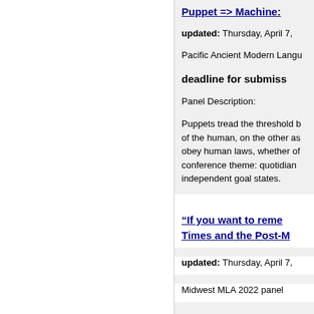Puppet => Machine:
updated: Thursday, April 7,
Pacific Ancient Modern Langu
deadline for submiss
Panel Description:
Puppets tread the threshold b of the human, on the other as obey human laws, whether of conference theme: quotidian independent goal states.
“If you want to reme
Times and the Post-M
updated: Thursday, April 7,
Midwest MLA 2022 panel